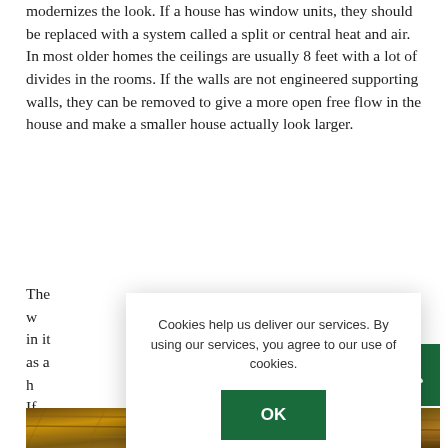modernizes the look. If a house has window units, they should be replaced with a system called a split or central heat and air. In most older homes the ceilings are usually 8 feet with a lot of divides in the rooms. If the walls are not engineered supporting walls, they can be removed to give a more open free flow in the house and make a smaller house actually look larger.
The w... e in it as a h... able. If you... your hous... ood. Try t... e not expe... rage is a s... e the clutter. Paint stores sell concrete paint and that's excellent for painting the floor of the garage but make sure the garage floor has been washed with acid... paint will adhere to it.
[Figure (screenshot): Cookie consent dialog with text: 'Cookies help us deliver our services. By using our services, you agree to our use of cookies.' with an OK button and Learn more link.]
[Figure (other): Green back-to-top button with upward arrow chevron icon in bottom right corner.]
[Figure (photo): Bottom strip showing a close-up photo of wood grain or wicker texture in warm brown tones.]